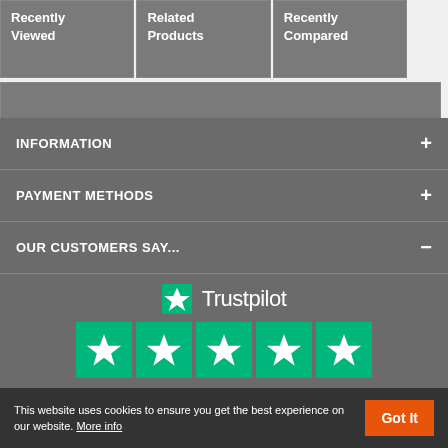[Figure (screenshot): Three grey placeholder boxes labeled Recently Viewed, Related Products, Recently Compared at the top, with a wide grey bar below them.]
INFORMATION
PAYMENT METHODS
OUR CUSTOMERS SAY...
[Figure (logo): Trustpilot logo with green star and wordmark 'Trustpilot', five green star rating boxes, TrustScore 4.9 | 27,388 reviews]
This website uses cookies to ensure you get the best experience on our website. More info
Got It